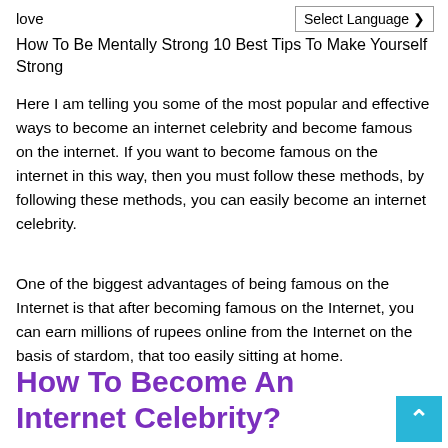love
How To Be Mentally Strong 10 Best Tips To Make Yourself Strong
Here I am telling you some of the most popular and effective ways to become an internet celebrity and become famous on the internet. If you want to become famous on the internet in this way, then you must follow these methods, by following these methods, you can easily become an internet celebrity.
One of the biggest advantages of being famous on the Internet is that after becoming famous on the Internet, you can earn millions of rupees online from the Internet on the basis of stardom, that too easily sitting at home.
How To Become An Internet Celebrity?